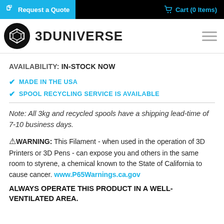Request a Quote | Cart (0 Items)
[Figure (logo): 3D Universe logo with black circle icon and bold text '3DUNIVERSE']
AVAILABILITY: IN-STOCK NOW
MADE IN THE USA
SPOOL RECYCLING SERVICE IS AVAILABLE
Note: All 3kg and recycled spools have a shipping lead-time of 7-10 business days.
WARNING: This Filament - when used in the operation of 3D Printers or 3D Pens - can expose you and others in the same room to styrene, a chemical known to the State of California to cause cancer. www.P65Warnings.ca.gov
ALWAYS OPERATE THIS PRODUCT IN A WELL-VENTILATED AREA.